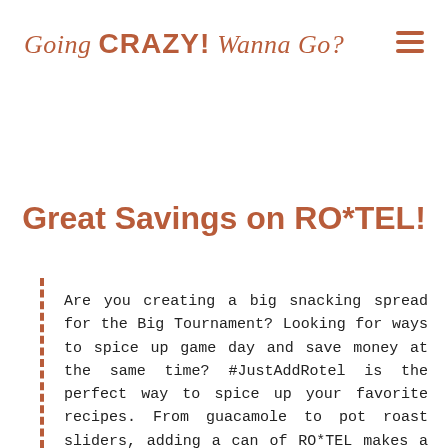Going CRAZY! Wanna Go?
Great Savings on RO*TEL!
Are you creating a big snacking spread for the Big Tournament? Looking for ways to spice up game day and save money at the same time? #JustAddRotel is the perfect way to spice up your favorite recipes. From guacamole to pot roast sliders, adding a can of RO*TEL makes a traditional game day recipe into something extraordinary.